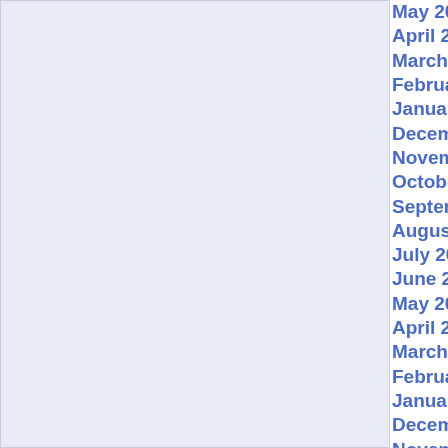May 200[8]
April 200[8]
March 200[8]
February [2008]
January [2008]
Decemb[er 2007]
Novemb[er 2007]
October [2007]
Septemb[er 2007]
August 2[007]
July 200[7]
June 200[7]
May 200[7]
April 200[7]
March 20[07]
February [2007]
January [2007]
Decemb[er 2006]
Novemb[er 2006]
October [2006]
Septemb[er 2006]
August 2[006]
July 2007
June 200[6]
May 2007
April 200[6]
March 200[6]
February [2006]
January [2006]
Decemb[er 2005]
Novemb[er 2005]
October [2005]
Septemb[er 2005]